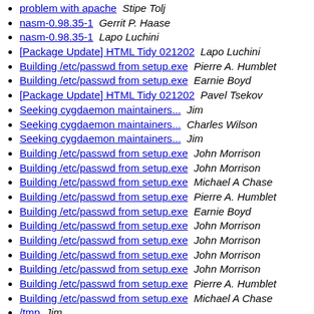problem with apache  Stipe Tolj
nasm-0.98.35-1  Gerrit P. Haase
nasm-0.98.35-1  Lapo Luchini
[Package Update] HTML Tidy 021202  Lapo Luchini
Building /etc/passwd from setup.exe  Pierre A. Humblet
Building /etc/passwd from setup.exe  Earnie Boyd
[Package Update] HTML Tidy 021202  Pavel Tsekov
Seeking cygdaemon maintainers...  Jim
Seeking cygdaemon maintainers...  Charles Wilson
Seeking cygdaemon maintainers...  Jim
Building /etc/passwd from setup.exe  John Morrison
Building /etc/passwd from setup.exe  John Morrison
Building /etc/passwd from setup.exe  Michael A Chase
Building /etc/passwd from setup.exe  Pierre A. Humblet
Building /etc/passwd from setup.exe  Earnie Boyd
Building /etc/passwd from setup.exe  John Morrison
Building /etc/passwd from setup.exe  John Morrison
Building /etc/passwd from setup.exe  John Morrison
Building /etc/passwd from setup.exe  John Morrison
Building /etc/passwd from setup.exe  Pierre A. Humblet
Building /etc/passwd from setup.exe  Michael A Chase
/tmp  Jim
/tmp  Earnie Boyd
/tmp  Christopher Faylor
/tmp  Matthew Smith